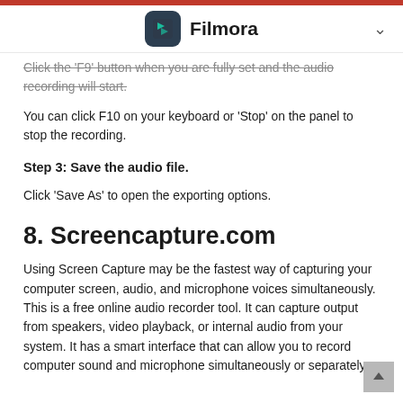Filmora
Click the 'F9' button when you are fully set and the audio recording will start.
You can click F10 on your keyboard or 'Stop' on the panel to stop the recording.
Step 3: Save the audio file.
Click 'Save As' to open the exporting options.
8. Screencapture.com
Using Screen Capture may be the fastest way of capturing your computer screen, audio, and microphone voices simultaneously. This is a free online audio recorder tool. It can capture output from speakers, video playback, or internal audio from your system. It has a smart interface that can allow you to record computer sound and microphone simultaneously or separately.